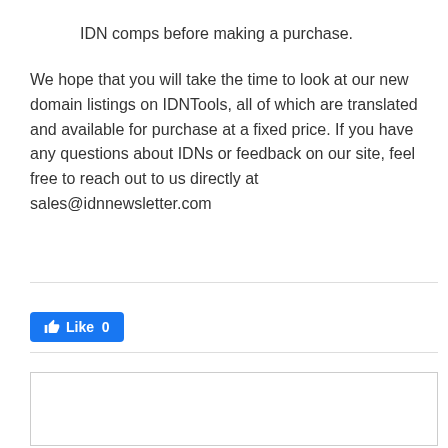IDN comps before making a purchase.
We hope that you will take the time to look at our new domain listings on IDNTools, all of which are translated and available for purchase at a fixed price. If you have any questions about IDNs or feedback on our site, feel free to reach out to us directly at sales@idnnewsletter.com
[Figure (other): Facebook Like button showing '👍 Like 0' in blue]
[Figure (other): Empty comment/text input box]